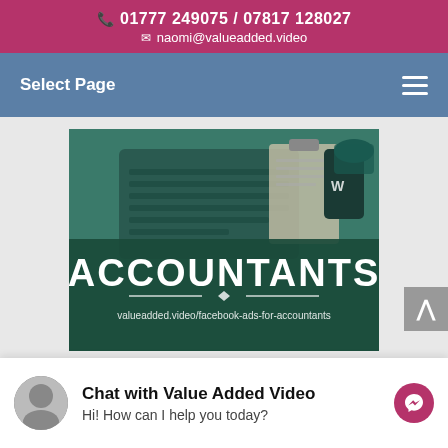📞 01777 249075 / 07817 128027
✉ naomi@valueadded.video
Select Page
[Figure (screenshot): Promotional image for Facebook Ads for Accountants service by Value Added Video. Shows a laptop, clipboard, phone, and mug on a desk with a dark teal overlay. Large white text reads 'ACCOUNTANTS' with a decorative line and diamond below it, and URL 'valueadded.video/facebook-ads-for-accountants' at the bottom.]
Chat with Value Added Video
Hi! How can I help you today?